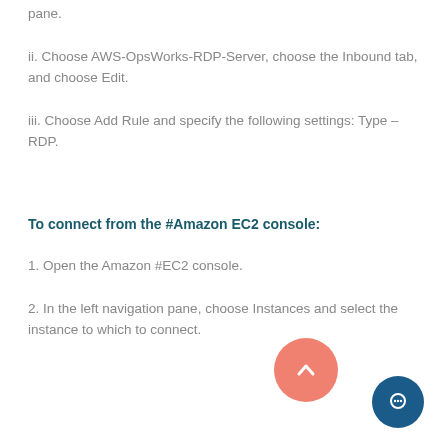pane.
ii. Choose AWS-OpsWorks-RDP-Server, choose the Inbound tab, and choose Edit.
iii. Choose Add Rule and specify the following settings: Type – RDP.
To connect from the #Amazon EC2 console:
1. Open the Amazon #EC2 console.
2. In the left navigation pane, choose Instances and select the instance to which to connect.